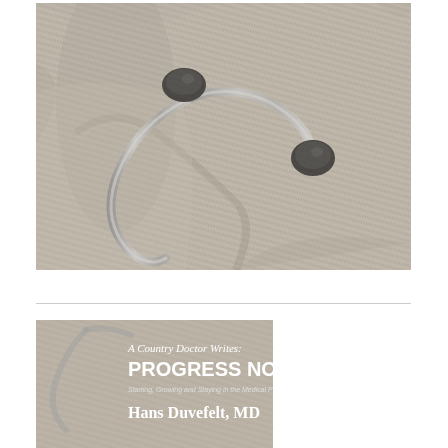[Figure (photo): Close-up photograph of a stethoscope earpiece/headset (silver metal tubing with black rubber ear tips) resting on a gray herringbone fabric surface.]
[Figure (photo): Book cover image showing 'A Country Doctor Writes: PROGRESS NOTES - Starting, Growing and Staying in the Medical Profession' by Hans Duvefelt, MD, with a stethoscope on gray fabric background.]